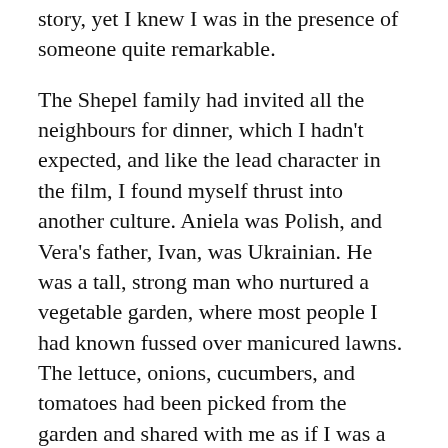story, yet I knew I was in the presence of someone quite remarkable.
The Shepel family had invited all the neighbours for dinner, which I hadn't expected, and like the lead character in the film, I found myself thrust into another culture. Aniela was Polish, and Vera's father, Ivan, was Ukrainian. He was a tall, strong man who nurtured a vegetable garden, where most people I had known fussed over manicured lawns. The lettuce, onions, cucumbers, and tomatoes had been picked from the garden and shared with me as if I was a neighbour or family friend of many years, rather than a suitor interested in their only daughter.
That moment has remained with me for 45 years. Every detail is burned in my memory. The smells,